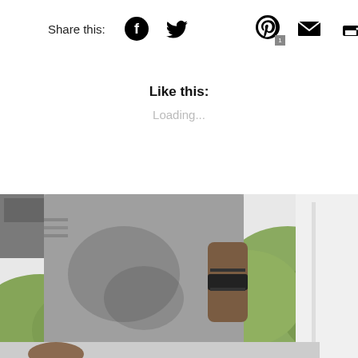Share this:
[Figure (screenshot): Social share icons: Facebook, Twitter, Pinterest (with badge 1), Email, Print]
Like this:
Loading...
[Figure (photo): A person wearing a grey long-sleeve shirt standing on what appears to be a balcony or deck, with green plants/trees visible in the background]